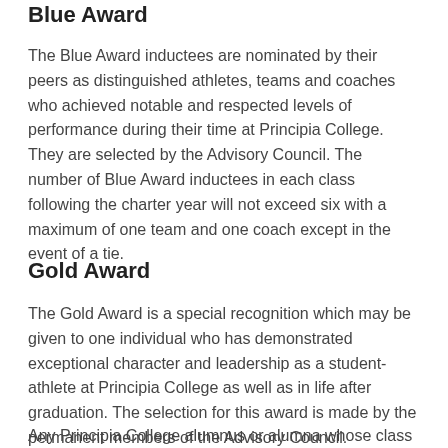Blue Award
The Blue Award inductees are nominated by their peers as distinguished athletes, teams and coaches who achieved notable and respected levels of performance during their time at Principia College. They are selected by the Advisory Council. The number of Blue Award inductees in each class following the charter year will not exceed six with a maximum of one team and one coach except in the event of a tie.
Gold Award
The Gold Award is a special recognition which may be given to one individual who has demonstrated exceptional character and leadership as a student-athlete at Principia College as well as in life after graduation. The selection for this award is made by the permanent members of the Advisory Council.
Any Principia College alumnus or alumna whose class